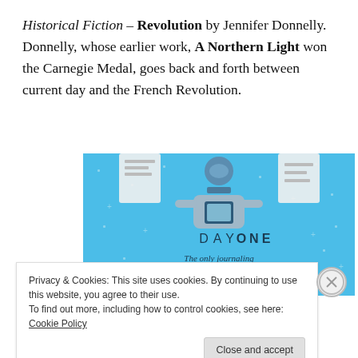Historical Fiction – Revolution by Jennifer Donnelly. Donnelly, whose earlier work, A Northern Light won the Carnegie Medal, goes back and forth between current day and the French Revolution.
[Figure (illustration): Day One journaling app advertisement banner with blue background showing a person holding a phone, with text 'DAY ONE' and 'The only journaling app you'll ever need.']
Privacy & Cookies: This site uses cookies. By continuing to use this website, you agree to their use.
To find out more, including how to control cookies, see here: Cookie Policy
Close and accept